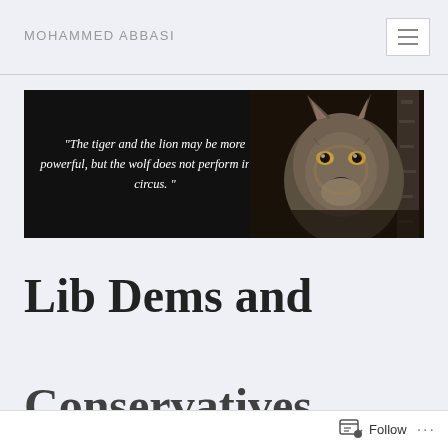MOHAMMED ABBASI
[Figure (photo): Banner image with a wolf photo on a dark background and an italic quote: "The tiger and the lion may be more powerful, but the wolf does not perform in the circus."]
Lib Dems and Conservatives should
Follow ...